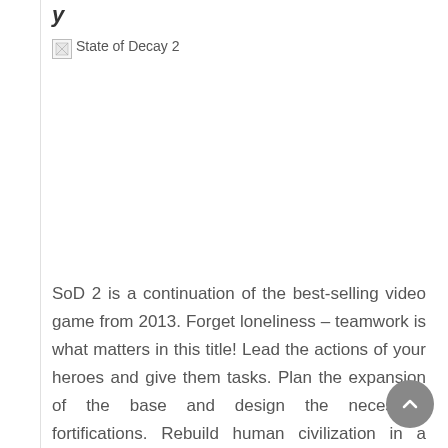y
[Figure (photo): Broken image placeholder with alt text 'State of Decay 2']
SoD 2 is a continuation of the best-selling video game from 2013. Forget loneliness – teamwork is what matters in this title! Lead the actions of your heroes and give them tasks. Plan the expansion of the base and design the necessary fortifications. Rebuild human civilization in a world overrun by death!